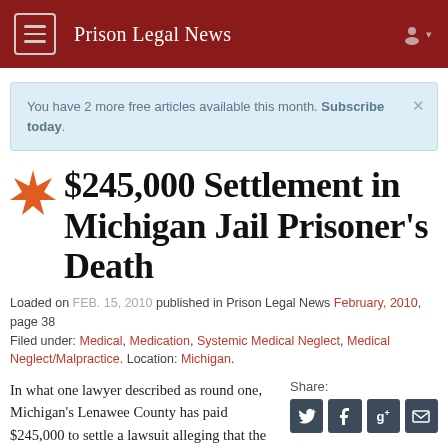Prison Legal News
You have 2 more free articles available this month. Subscribe today.
$245,000 Settlement in Michigan Jail Prisoner's Death
Loaded on FEB. 15, 2010 published in Prison Legal News February, 2010, page 38
Filed under: Medical, Medication, Systemic Medical Neglect, Medical Neglect/Malpractice. Location: Michigan.
In what one lawyer described as round one, Michigan's Lenawee County has paid $245,000 to settle a lawsuit alleging that the deficient medical care at the County's jail caused a prisoner's death.